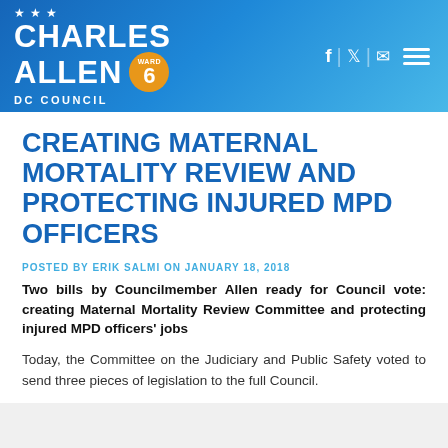Charles Allen DC Council Ward 6
CREATING MATERNAL MORTALITY REVIEW AND PROTECTING INJURED MPD OFFICERS
POSTED BY ERIK SALMI ON JANUARY 18, 2018
Two bills by Councilmember Allen ready for Council vote: creating Maternal Mortality Review Committee and protecting injured MPD officers' jobs
Today, the Committee on the Judiciary and Public Safety voted to send three pieces of legislation to the full Council.